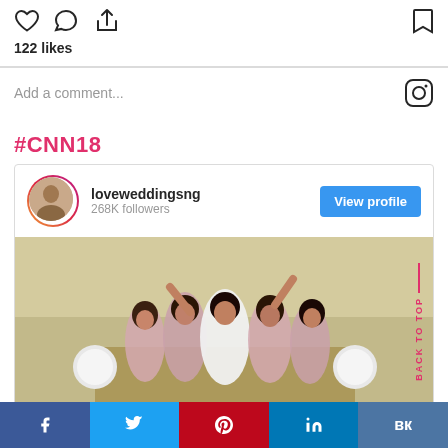[Figure (screenshot): Instagram post interaction icons (heart, comment, share, bookmark) with 122 likes count]
122 likes
[Figure (screenshot): Instagram add a comment bar with camera icon]
#CNN18
[Figure (screenshot): Instagram profile card for loveweddingsng with 268K followers, View profile button, and photo of bridesmaids in robes]
[Figure (screenshot): Social share bar with Facebook, Twitter, Pinterest, LinkedIn, VK buttons]